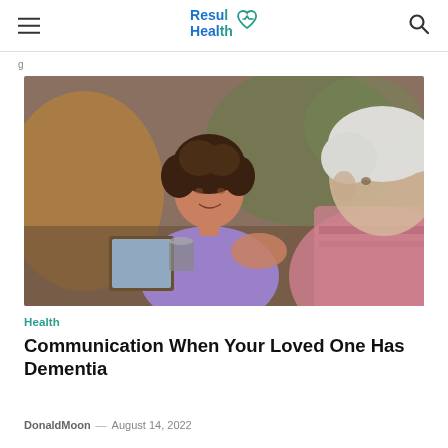ResulHealth [logo]
[Figure (photo): A young woman with curly hair wearing a purple scrub top smiles and gestures toward a book or tablet, while an elderly woman with short white hair wearing a pink top looks on. They appear to be in a warm indoor setting.]
Health
Communication When Your Loved One Has Dementia
DonaldMoon — August 14, 2022